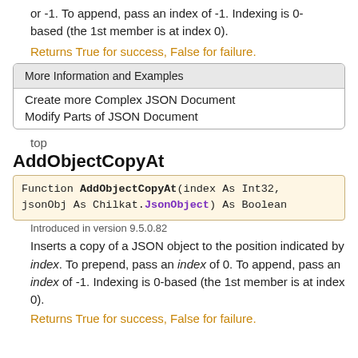or -1. To append, pass an index of -1. Indexing is 0-based (the 1st member is at index 0).
Returns True for success, False for failure.
More Information and Examples
Create more Complex JSON Document
Modify Parts of JSON Document
top
AddObjectCopyAt
Function AddObjectCopyAt(index As Int32, jsonObj As Chilkat.JsonObject) As Boolean
Introduced in version 9.5.0.82
Inserts a copy of a JSON object to the position indicated by index. To prepend, pass an index of 0. To append, pass an index of -1. Indexing is 0-based (the 1st member is at index 0).
Returns True for success, False for failure.